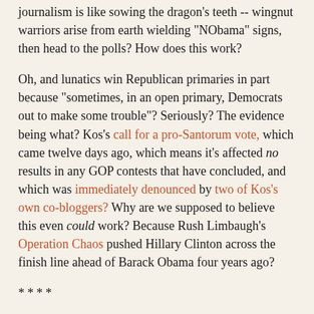journalism is like sowing the dragon's teeth -- wingnut warriors arise from earth wielding "NObama" signs, then head to the polls? How does this work?
Oh, and lunatics win Republican primaries in part because "sometimes, in an open primary, Democrats out to make some trouble"? Seriously? The evidence being what? Kos's call for a pro-Santorum vote, which came twelve days ago, which means it's affected no results in any GOP contests that have concluded, and which was immediately denounced by two of Kos's own co-bloggers? Why are we supposed to believe this even could work? Because Rush Limbaugh's Operation Chaos pushed Hillary Clinton across the finish line ahead of Barack Obama four years ago?
****
Siegel's conclusion about Romney, ultimately, is this:
By performing his aloofness from and contempt for the radical right, even as he fakes solidarity with it, Romney is doing exactly what he needs to do. He is keeping the radical right close to him for the general election by seeming to bow to its power, even as he